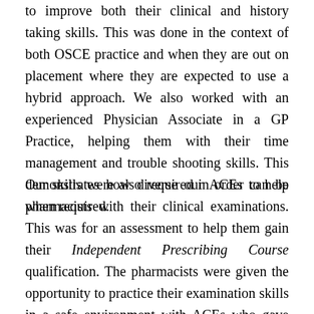to improve both their clinical and history taking skills. This was done in the context of both OSCE practice and when they are out on placement where they are expected to use a hybrid approach. We also worked with an experienced Physician Associate in a GP Practice, helping them with their time management and trouble shooting skills. This demonstrates how diverse our ACEs can be when required.
Our skills were also required in order to help pharmacists with their clinical examinations. This was for an assessment to help them gain their Independent Prescribing Course qualification. The pharmacists were given the opportunity to practice their examination skills in a safe environment with ACEs who gave feedback on